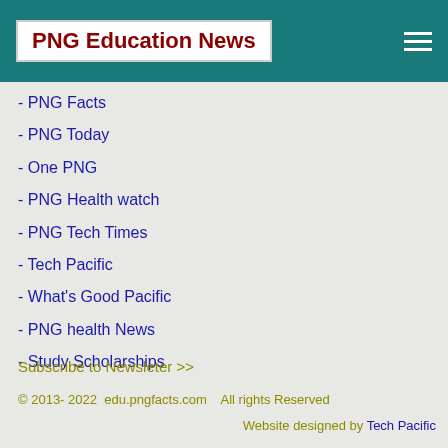PNG Education News
- PNG Facts
- PNG Today
- One PNG
- PNG Health watch
- PNG Tech Times
- Tech Pacific
- What's Good Pacific
- PNG health News
- Study Scholarships
Subscribe to Newsleter >>
© 2013- 2022  edu.pngfacts.com   All rights Reserved
Website designed by Tech Pacific